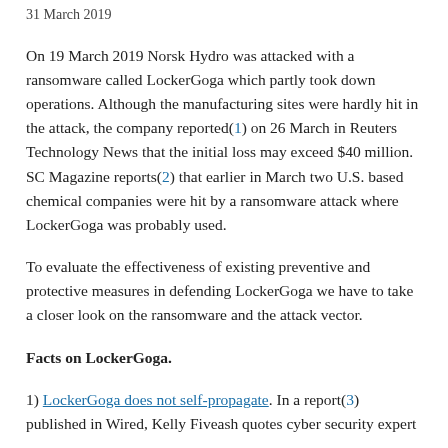31 March 2019
On 19 March 2019 Norsk Hydro was attacked with a ransomware called LockerGoga which partly took down operations. Although the manufacturing sites were hardly hit in the attack, the company reported(1) on 26 March in Reuters Technology News that the initial loss may exceed $40 million. SC Magazine reports(2) that earlier in March two U.S. based chemical companies were hit by a ransomware attack where LockerGoga was probably used.
To evaluate the effectiveness of existing preventive and protective measures in defending LockerGoga we have to take a closer look on the ransomware and the attack vector.
Facts on LockerGoga.
1) LockerGoga does not self-propagate. In a report(3) published in Wired, Kelly Fiveash quotes cyber security expert